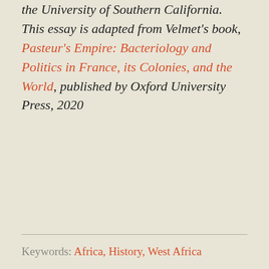the University of Southern California. This essay is adapted from Velmet's book, Pasteur's Empire: Bacteriology and Politics in France, its Colonies, and the World, published by Oxford University Press, 2020
Keywords: Africa, History, West Africa
Comments (0)
WEEK OF AUGUST 25